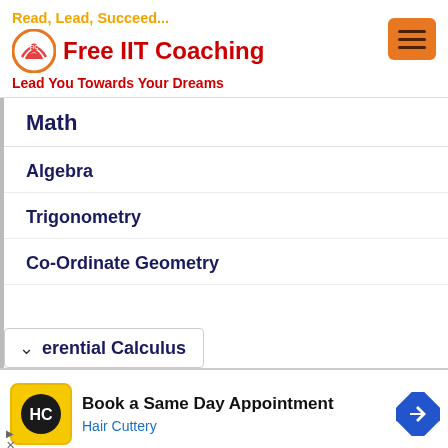[Figure (logo): Free IIT Coaching logo with tagline 'Read, Lead, Succeed...' and subtitle 'Lead You Towards Your Dreams', orange hamburger menu button on right]
Math
Algebra
Trigonometry
Co-Ordinate Geometry
erential Calculus
[Figure (infographic): Advertisement banner: Hair Cuttery logo, 'Book a Same Day Appointment', 'Hair Cuttery' link, navigation icon]